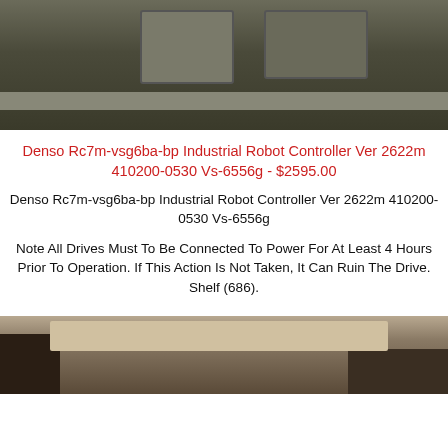[Figure (photo): Top photo showing industrial robot controller hardware, dark metallic equipment on shelving]
Denso Rc7m-vsg6ba-bp Industrial Robot Controller Ver 2622m 410200-0530 Vs-6556g - $2595.00
Denso Rc7m-vsg6ba-bp Industrial Robot Controller Ver 2622m 410200-0530 Vs-6556g
Note All Drives Must To Be Connected To Power For At Least 4 Hours Prior To Operation. If This Action Is Not Taken, It Can Ruin The Drive. Shelf (686).
[Figure (photo): Bottom photo showing floor area with wooden object and light colored surface]